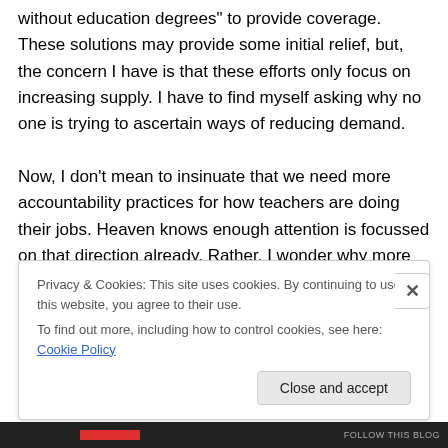without education degrees" to provide coverage. These solutions may provide some initial relief, but, the concern I have is that these efforts only focus on increasing supply. I have to find myself asking why no one is trying to ascertain ways of reducing demand.

Now, I don't mean to insinuate that we need more accountability practices for how teachers are doing their jobs. Heaven knows enough attention is focussed on that direction already. Rather, I wonder why more attention is not being paid to reasons why teachers may be off work in the first...
Privacy & Cookies: This site uses cookies. By continuing to use this website, you agree to their use.
To find out more, including how to control cookies, see here: Cookie Policy
Close and accept